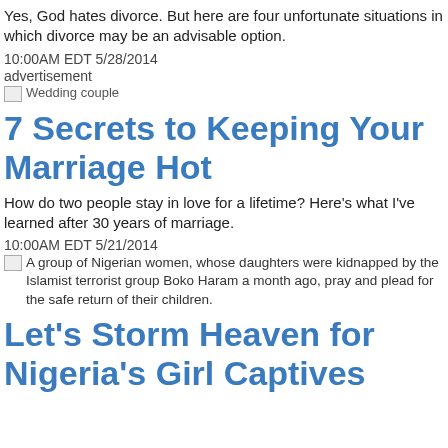Yes, God hates divorce. But here are four unfortunate situations in which divorce may be an advisable option.
10:00AM EDT 5/28/2014
advertisement
[Figure (photo): Broken image placeholder: Wedding couple]
7 Secrets to Keeping Your Marriage Hot
How do two people stay in love for a lifetime? Here's what I've learned after 30 years of marriage.
10:00AM EDT 5/21/2014
[Figure (photo): Broken image placeholder: A group of Nigerian women, whose daughters were kidnapped by the Islamist terrorist group Boko Haram a month ago, pray and plead for the safe return of their children.]
Let's Storm Heaven for Nigeria's Girl Captives